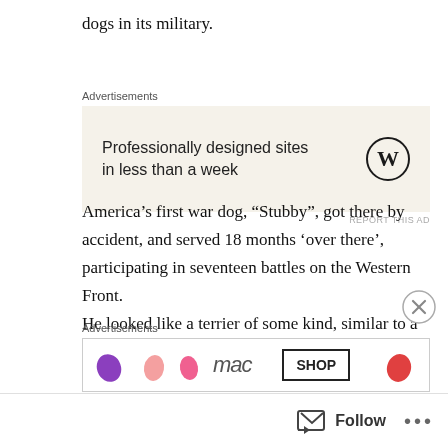dogs in its military.
[Figure (other): Advertisement banner: WordPress ad showing 'Professionally designed sites in less than a week' with WordPress logo on beige background. Label 'Advertisements' above. 'REPORT THIS AD' link below.]
America's first war dog, “Stubby”, got there by accident, and served 18 months ‘over there’, participating in seventeen battles on the Western Front.
He looked like a terrier of some kind, similar to a pit bull. Nobody knows anything more about him.  He showed up as a stray at Yale Field in New Haven, Connecticut, while a group
[Figure (other): Bottom advertisement banner partially visible, showing colorful product images and a SHOP button. Label 'Advertisements' above.]
Follow ...